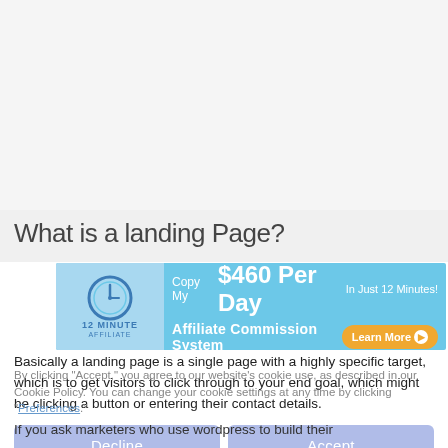What is a landing Page?
[Figure (illustration): 12 Minute Affiliate ad banner with clock logo, '$460 Per Day Affiliate Commission System', 'Copy My', 'In Just 12 Minutes!', and 'Learn More' button]
Basically a landing page is a single page with a highly specific target, which is to get visitors to click through to your end goal, which might be clicking a button or entering their contact details.
By clicking "Accept," you agree to our website's cookie use, as described in our Cookie Policy. You can change your cookie settings at any time by clicking "Preferences."
If you ask marketers who use wordpress to build their